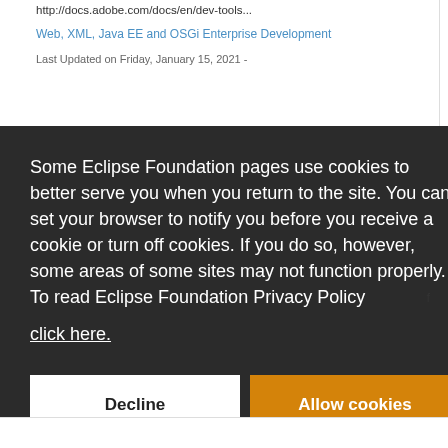http://docs.adobe.com/docs/en/dev-tools...
Web, XML, Java EE and OSGi Enterprise Development
Last Updated on Friday, January 15, 2021 -
Some Eclipse Foundation pages use cookies to better serve you when you return to the site. You can set your browser to notify you before you receive a cookie or turn off cookies. If you do so, however, some areas of some sites may not function properly. To read Eclipse Foundation Privacy Policy click here.